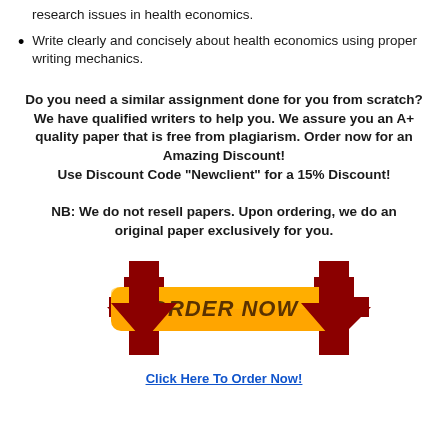research issues in health economics.
Write clearly and concisely about health economics using proper writing mechanics.
Do you need a similar assignment done for you from scratch? We have qualified writers to help you. We assure you an A+ quality paper that is free from plagiarism. Order now for an Amazing Discount! Use Discount Code "Newclient" for a 15% Discount!
NB: We do not resell papers. Upon ordering, we do an original paper exclusively for you.
[Figure (illustration): Orange ORDER NOW button with two dark red downward-pointing arrows on either side, on a white background.]
Click Here To Order Now!